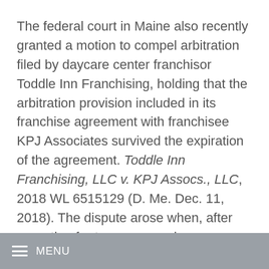The federal court in Maine also recently granted a motion to compel arbitration filed by daycare center franchisor Toddle Inn Franchising, holding that the arbitration provision included in its franchise agreement with franchisee KPJ Associates survived the expiration of the agreement. Toddle Inn Franchising, LLC v. KPJ Assocs., LLC, 2018 WL 6515129 (D. Me. Dec. 11, 2018). The dispute arose when, after operating for two years under an expired franchise agreement, KPJ notified Toddle Inn that it intended to open a
MENU